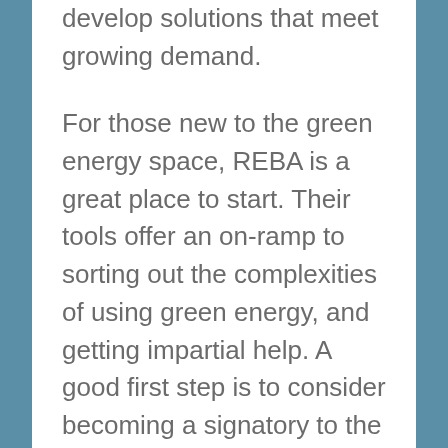develop solutions that meet growing demand.
For those new to the green energy space, REBA is a great place to start. Their tools offer an on-ramp to sorting out the complexities of using green energy, and getting impartial help. A good first step is to consider becoming a signatory to the Renewable energy Buyers Principals.
Another important collaboration specifically for colocation suppliers and customers is a group led by BSR called the Future of Internet Power. Made up of